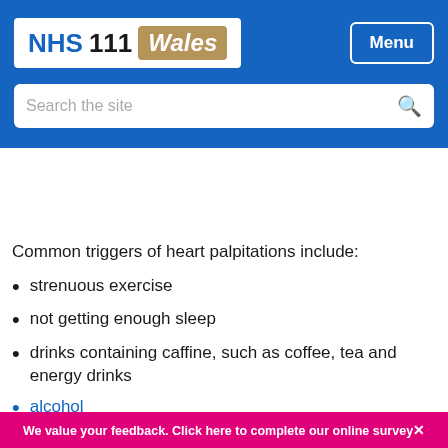[Figure (logo): NHS 111 Wales logo in white box with blue NHS text and gold/tan Wales badge]
Menu
Search the site
Common triggers of heart palpitations include:
strenuous exercise
not getting enough sleep
drinks containing caffine, such as coffee, tea and energy drinks
alcohol
smoking
illegal drugs, such as cocaine, heroin, amphetamines, ecstasy and cannabis
We value your feedback. Click here to complete our online survey✕